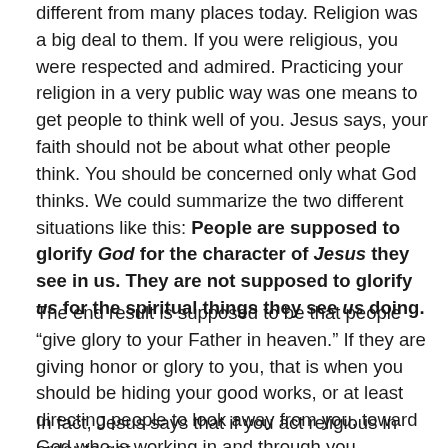different from many places today. Religion was a big deal to them. If you were religious, you were respected and admired. Practicing your religion in a very public way was one means to get people to think well of you. Jesus says, your faith should not be about what other people think. You should be concerned only what God thinks. We could summarize the two different situations like this: People are supposed to glorify God for the character of Jesus they see in us. They are not supposed to glorify us for the spiritual things they see us doing.
The end result is supposed to be that people “give glory to your Father in heaven.” If they are giving honor or glory to you, that is when you should be hiding your good works, or at least directing people to look away from you, toward God who is working in and through you.
In fact, Jesus says that if you act religious in order to get